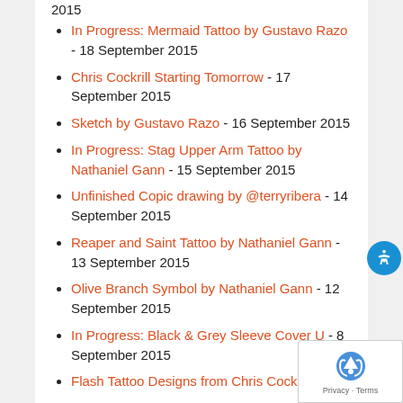In Progress: Mermaid Tattoo by Gustavo Razo - 18 September 2015
Chris Cockrill Starting Tomorrow - 17 September 2015
Sketch by Gustavo Razo - 16 September 2015
In Progress: Stag Upper Arm Tattoo by Nathaniel Gann - 15 September 2015
Unfinished Copic drawing by @terryribera - 14 September 2015
Reaper and Saint Tattoo by Nathaniel Gann - 13 September 2015
Olive Branch Symbol by Nathaniel Gann - 12 September 2015
In Progress: Black & Grey Sleeve Cover U… - 8 September 2015
Flash Tattoo Designs from Chris Cockrill - 7…